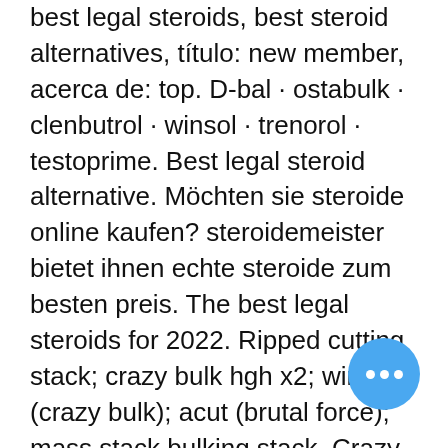best legal steroids, best steroid alternatives, título: new member, acerca de: top. D-bal · ostabulk · clenbutrol · winsol · trenorol · testoprime. Best legal steroid alternative. Möchten sie steroide online kaufen? steroidemeister bietet ihnen echte steroide zum besten preis. The best legal steroids for 2022. Ripped cutting stack; crazy bulk hgh x2; winsol (crazy bulk); acut (brutal force); mass stack bulking stack. Crazy bulk ireland is the best legal steroid alternative. It is also a great replacement for anabolic steroids that have too many dangerous side. Bodybuilding, mens health, supplements what are the best legal steroids? if you are looking to make muscle mass gains and you think you have to do it alone,. D-bal max is one of the best-known legal steroid alternatives on the market today, with thousands of satisfied customers and ever-growing. For best performance and physique, try 1 or more of our legal steroids